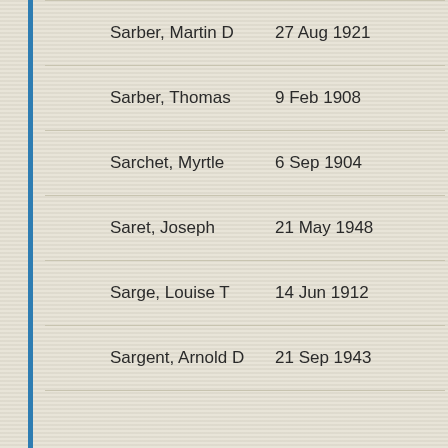| Name | Date |
| --- | --- |
| Sarber, Martin D | 27 Aug 1921 |
| Sarber, Thomas | 9 Feb 1908 |
| Sarchet, Myrtle | 6 Sep 1904 |
| Saret, Joseph | 21 May 1948 |
| Sarge, Louise T | 14 Jun 1912 |
| Sargent, Arnold D | 21 Sep 1943 |